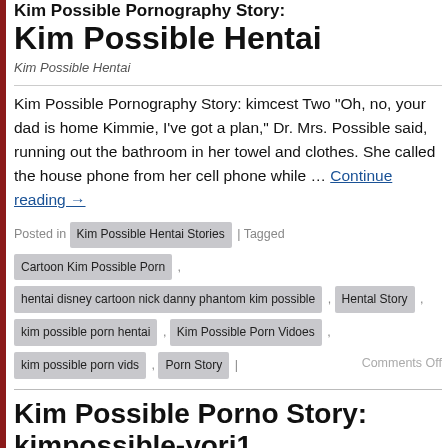Kim Possible Pornography Story: Kim Possible Hentai
Kim Possible Hentai
Kim Possible Pornography Story: kimcest Two “Oh, no, your dad is home Kimmie, I’ve got a plan,” Dr. Mrs. Possible said, running out the bathroom in her towel and clothes. She called the house phone from her cell phone while … Continue reading →
Posted in Kim Possible Hentai Stories | Tagged Cartoon Kim Possible Porn , hentai disney cartoon nick danny phantom kim possible , Hental Story , kim possible porn hentai , Kim Possible Porn Vidoes , kim possible porn vids , Porn Story | Comments Off
Kim Possible Porno Story: kimpossible-yori1
Posted on January 1, 2020 by rufus
Kim Possible Porno Story: kimpossible-yori1 The Extremely Lucky Ron Stoppable Deep inside a Maximum Security